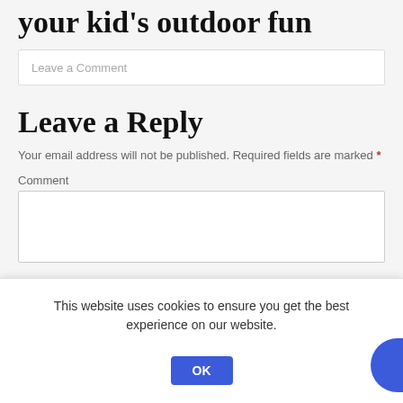your kid's outdoor fun
Leave a Comment
Leave a Reply
Your email address will not be published. Required fields are marked *
Comment
This website uses cookies to ensure you get the best experience on our website.